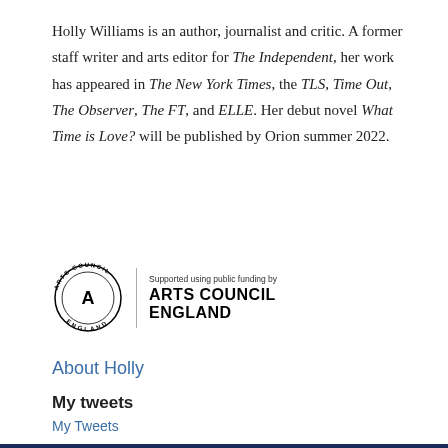Holly Williams is an author, journalist and critic. A former staff writer and arts editor for The Independent, her work has appeared in The New York Times, the TLS, Time Out, The Observer, The FT, and ELLE. Her debut novel What Time is Love? will be published by Orion summer 2022.
[Figure (logo): Arts Council England logo: circular stamp with 'ARTS COUNCIL ENGLAND' text around the edge, next to text 'Supported using public funding by ARTS COUNCIL ENGLAND']
About Holly
My tweets
My Tweets